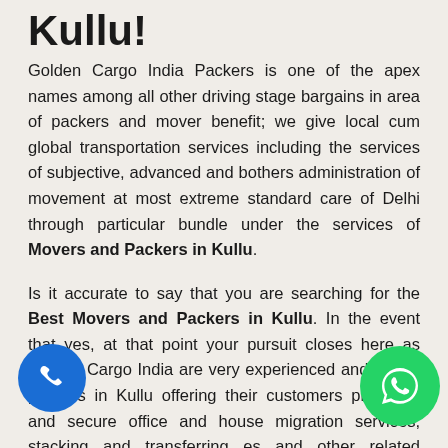Kullu!
Golden Cargo India Packers is one of the apex names among all other driving stage bargains in area of packers and mover benefit; we give local cum global transportation services including the services of subjective, advanced and bothers administration of movement at most extreme standard care of Delhi through particular bundle under the services of Movers and Packers in Kullu.
Is it accurate to say that you are searching for the Best Movers and Packers in Kullu. In the event that yes, at that point your pursuit closes here as Golden Cargo India are very experienced and expert packers in Kullu offering their customers protected and secure office and house migration services, stacking and transferring services and other related services in about all the main communities of India and furthermore over world the should be noted as more.